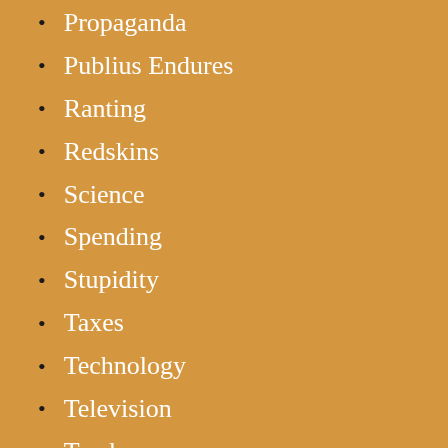Propaganda
Publius Endures
Ranting
Redskins
Science
Spending
Stupidity
Taxes
Technology
Television
Tender
Travel
Uncategorized
Vegan
Virginia Tech
War